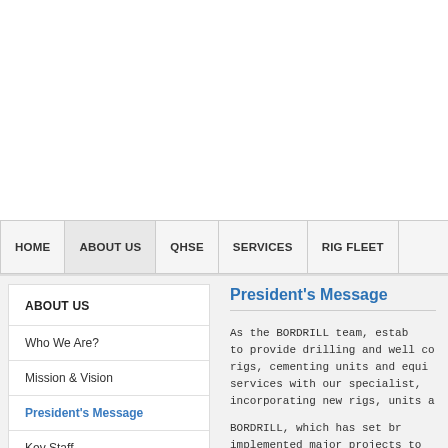HOME | ABOUT US | QHSE | SERVICES | RIG FLEET
ABOUT US
Who We Are?
Mission & Vision
President's Message
Key Staff
Operating Areas
Legal Notice
President's Message
As the BORDRILL team, estab to provide drilling and well co rigs, cementing units and equi services with our specialist, incorporating new rigs, units a
BORDRILL, which has set br implemented major projects to and abroad with its strong t projects.